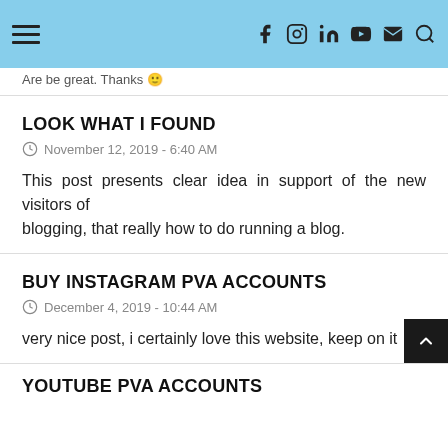Navigation header with hamburger menu and social icons (Facebook, Instagram, LinkedIn, YouTube, Email, Search)
Are be great. Thanks 🙂
LOOK WHAT I FOUND
November 12, 2019 - 6:40 AM
This post presents clear idea in support of the new visitors of blogging, that really how to do running a blog.
BUY INSTAGRAM PVA ACCOUNTS
December 4, 2019 - 10:44 AM
very nice post, i certainly love this website, keep on it
YOUTUBE PVA ACCOUNTS